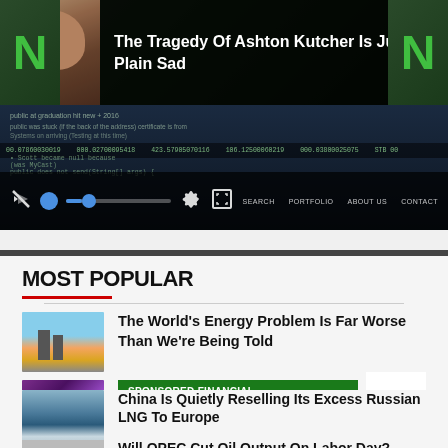[Figure (screenshot): Website banner showing a video player with celebrity Ashton Kutcher photo overlay and website navigation controls including search, portfolio, about us, contact]
MOST POPULAR
[Figure (photo): Industrial smokestacks emitting smoke against a sky backdrop]
The World's Energy Problem Is Far Worse Than We're Being Told
[Figure (photo): Purple spiral/vortex abstract image]
SPONSORED FINANCIAL CONTENT
A true advisor is all ears, not all talk
Truist Wealth
[Figure (photo): LNG tanker ship on water with cloudy sky]
China Is Quietly Reselling Its Excess Russian LNG To Europe
Will OPEC Cut Oil Output On Labor Day?